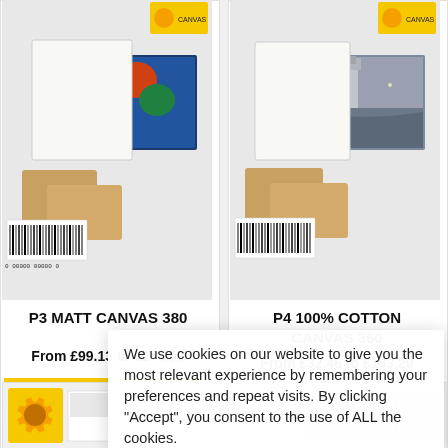[Figure (photo): Product photo of P3 Matt Canvas 380 showing canvas rolls, stretcher bars, and printed canvas samples]
P3 MATT CANVAS 380
From £99.13 to £244.96
SELECT OPTIONS
Add to W...
[Figure (photo): Product photo of P4 100% Cotton Canvas 360 showing canvas with Big Ben print, stretcher bars, and sunflower logo packaging]
P4 100% COTTON CANVAS 360
From £32.46 to £183.29
[Figure (photo): Partial product image at bottom left showing sunflower logo packaging]
[Figure (photo): Partial product image at bottom right]
We use cookies on our website to give you the most relevant experience by remembering your preferences and repeat visits. By clicking “Accept”, you consent to the use of ALL the cookies.
Cookie settings
ACCEPT